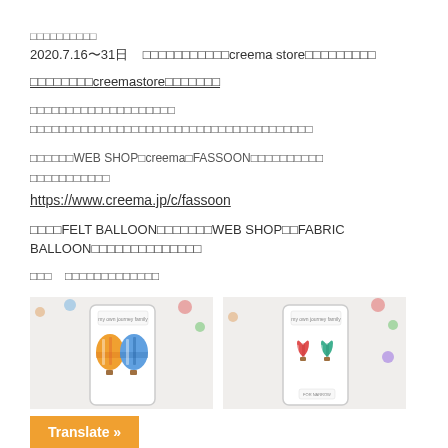イベント情報のお知らせ
2020.7.16〜31日　大丸神戸店にてcreema storeが開催されます
大丸神戸店のcreemastoreに出展します
この機会にぜひお越しください
フェルトバルーンとファブリックバルーンを展示販売いたします
通常はWEB SHOPとcreemaとFASSOONにて販売しております
よろしければご覧ください
https://www.creema.jp/c/fassoon
尚、FELT BALLOONは現在WEB SHOPのみ、FABRIC BALLOONは現在イベントのみの販売となっております
当日　みなさまのお越しをお待ちしております
[Figure (photo): Product photo showing hot air balloon earrings in a display case with colorful hot air balloon decorations]
[Figure (photo): Product photo showing hot air balloon earrings in a display case with colorful hot air balloon decorations, second view]